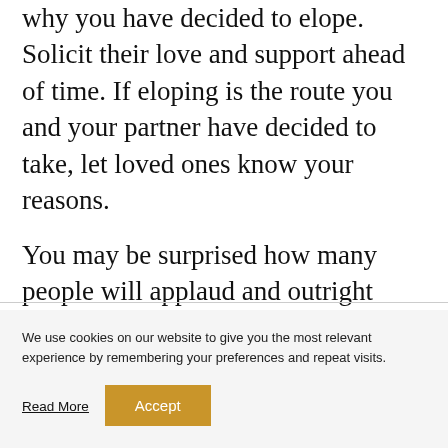Be sure to communicate with loved ones on why you have decided to elope. Solicit their love and support ahead of time. If eloping is the route you and your partner have decided to take, let loved ones know your reasons.
You may be surprised how many people will applaud and outright encourage you! Remember you can always plan something special with everyone later.
We use cookies on our website to give you the most relevant experience by remembering your preferences and repeat visits.